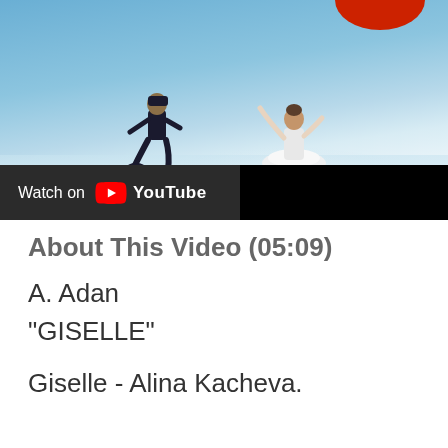[Figure (screenshot): YouTube video thumbnail showing a ballet scene with two dancers on a blue stage — one kneeling figure in dark costume and one standing figure in white tutu. A 'Watch on YouTube' bar appears at the bottom of the video frame.]
About This Video (05:09)
A. Adan
"GISELLE"
Giselle - Alina Kacheva.